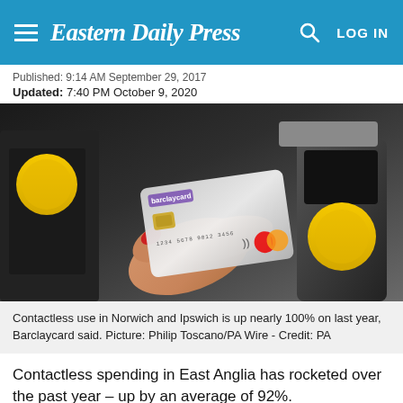Eastern Daily Press  LOG IN
Published: 9:14 AM September 29, 2017
Updated: 7:40 PM October 9, 2020
[Figure (photo): A hand holding a Barclaycard contactless credit card against a yellow payment terminal reader]
Contactless use in Norwich and Ipswich is up nearly 100% on last year, Barclaycard said. Picture: Philip Toscano/PA Wire - Credit: PA
Contactless spending in East Anglia has rocketed over the past year – up by an average of 92%.